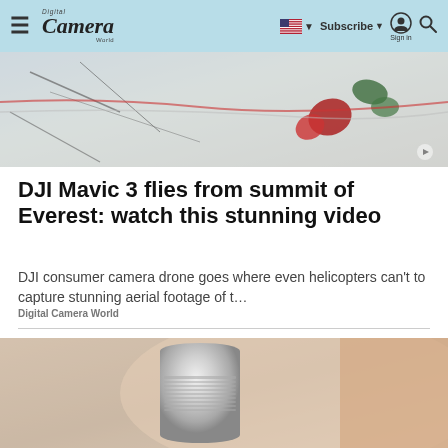Digital Camera World — Navigation bar with hamburger menu, logo, flag/language selector, Subscribe button, Sign in, Search
[Figure (photo): Aerial photo taken from a drone showing snowy mountain terrain with colorful markers or flags visible]
DJI Mavic 3 flies from summit of Everest: watch this stunning video
DJI consumer camera drone goes where even helicopters can't to capture stunning aerial footage of t…
Digital Camera World
[Figure (photo): Close-up photo of a metallic lens or cylindrical camera component against a blurred background]